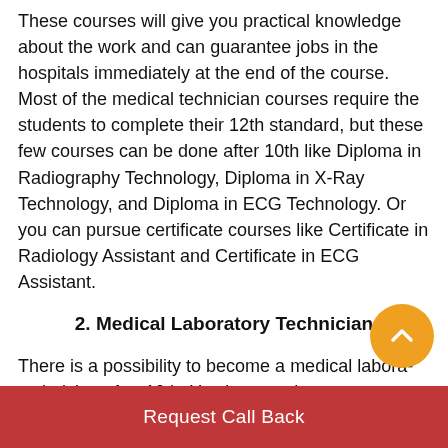These courses will give you practical knowledge about the work and can guarantee jobs in the hospitals immediately at the end of the course. Most of the medical technician courses require the students to complete their 12th standard, but these few courses can be done after 10th like Diploma in Radiography Technology, Diploma in X-Ray Technology, and Diploma in ECG Technology. Or you can pursue certificate courses like Certificate in Radiology Assistant and Certificate in ECG Assistant.
2. Medical Laboratory Technician
There is a possibility to become a medical laboratory technician after 10th. You just need to pass your std from a recognised board and then take up courses like Diploma in Medical Laboratory
Request Call Back